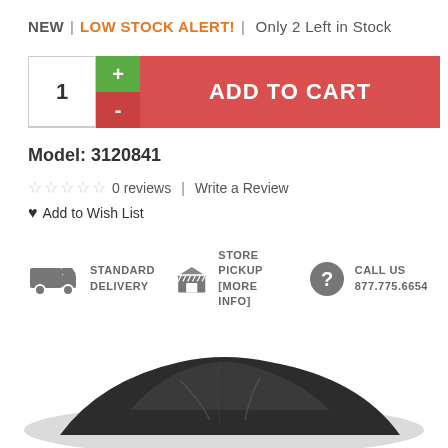NEW  |  LOW STOCK ALERT!  |  Only 2 Left in Stock
ADD TO CART (quantity: 1)
Model: 3120841
☆ ☆ ☆ ☆ ☆  0 reviews  |  Write a Review
♥ Add to Wish List
STANDARD DELIVERY   STORE PICKUP [More Info]   CALL US 877.775.6654
[Figure (photo): Product photo of a dark gray car cover draped over a vehicle, shown from a slightly elevated angle.]